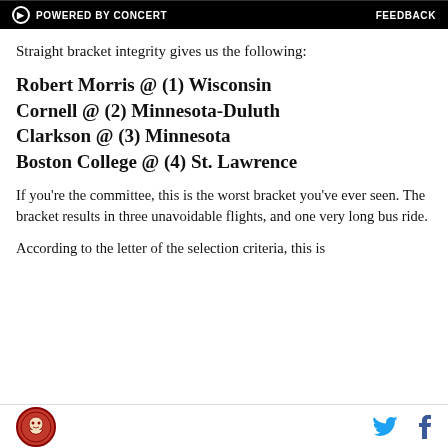[Figure (screenshot): Advertisement bar showing POWERED BY CONCERT with FEEDBACK label on right]
Straight bracket integrity gives us the following:
Robert Morris @ (1) Wisconsin
Cornell @ (2) Minnesota-Duluth
Clarkson @ (3) Minnesota
Boston College @ (4) St. Lawrence
If you're the committee, this is the worst bracket you've ever seen. The bracket results in three unavoidable flights, and one very long bus ride.
According to the letter of the selection criteria, this is
Site logo | Twitter icon | Facebook icon